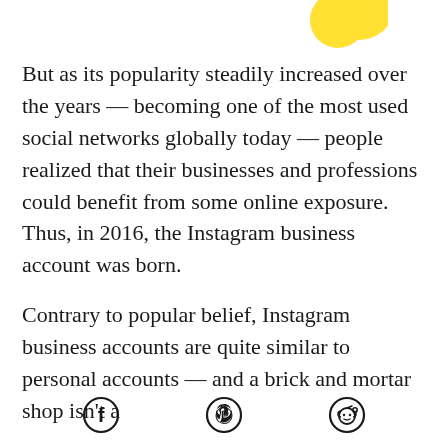[Figure (illustration): Yellow decorative shape (partial circle/blob) in top right corner]
But as its popularity steadily increased over the years — becoming one of the most used social networks globally today — people realized that their businesses and professions could benefit from some online exposure. Thus, in 2016, the Instagram business account was born.

Contrary to popular belief, Instagram business accounts are quite similar to personal accounts — and a brick and mortar shop isn't a
Facebook icon | Pinterest icon | Reddit icon